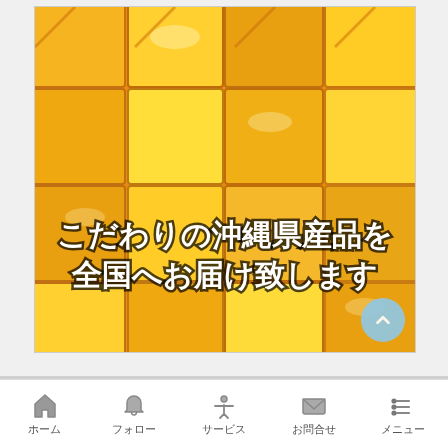[Figure (photo): Close-up photo of diced mango cubes, orange-yellow in color, arranged in a grid pattern with text overlay in Japanese reading: こだわりの沖縄県産品を全国へお届け致します (We deliver carefully selected Okinawa prefecture products nationwide)]
ホーム　フォロー　サービス　お問合せ　メニュー